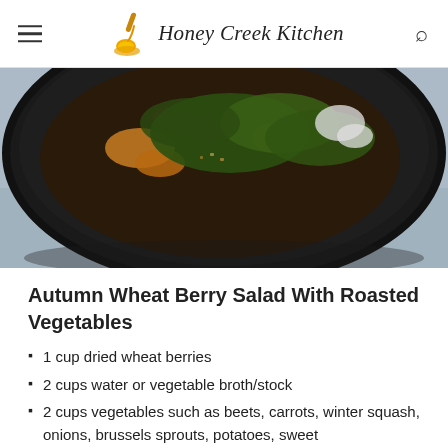Honey Creek Kitchen
[Figure (photo): Overhead view of a dark bowl containing autumn wheat berry salad with roasted vegetables, green leaves, orange pieces, and white cheese crumbles, on a light blue cloth background]
Autumn Wheat Berry Salad With Roasted Vegetables
1 cup dried wheat berries
2 cups water or vegetable broth/stock
2 cups vegetables such as beets, carrots, winter squash, onions, brussels sprouts, potatoes, sweet